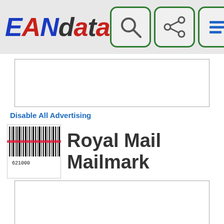EANdata
[Figure (screenshot): Advertisement placeholder box (empty white box with border)]
Disable All Advertising
Royal Mail Mailmark
[Figure (screenshot): Advertisement placeholder box (empty white box with border)]
There are two types of 4 State barcodes on printed postage 1st class and 2nd class with English and Bilingual Welsh / English options.
Barcode L, which is a Long barcode for domestic